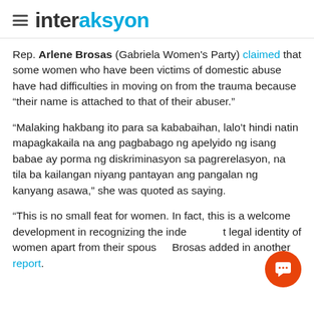interaksyon
Rep. Arlene Brosas (Gabriela Women's Party) claimed that some women who have been victims of domestic abuse have had difficulties in moving on from the trauma because “their name is attached to that of their abuser.”
“Malaking hakbang ito para sa kababaihan, lalo’t hindi natin mapagkakaila na ang pagbabago ng apelyido ng isang babae ay porma ng diskriminasyon sa pagrerelasyon, na tila ba kailangan niyang pantayan ang pangalan ng kanyang asawa,” she was quoted as saying.
“This is no small feat for women. In fact, this is a welcome development in recognizing the independent legal identity of women apart from their spouse,” Brosas added in another report.